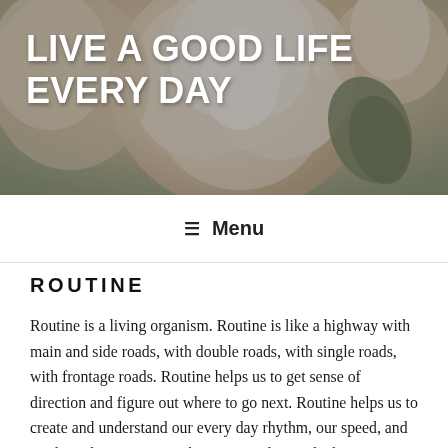[Figure (photo): Header banner with white peony flowers in soft focus, overlaid with dark tint]
LIVE A GOOD LIFE EVERY DAY
☰ Menu
ROUTINE
Routine is a living organism. Routine is like a highway with main and side roads, with double roads, with single roads, with frontage roads. Routine helps us to get sense of direction and figure out where to go next. Routine helps us to create and understand our every day rhythm, our speed, and our heart bit. Routine makes us to understand what we are capable of in life. If you do not like your current routine you might want to change it little by little. Add something you are interested in and stop doing